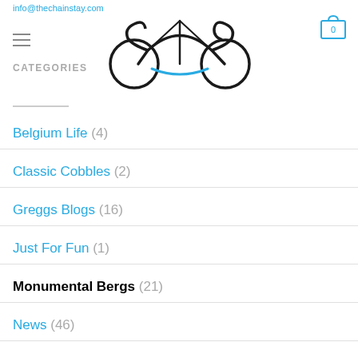info@thechainstay.com
[Figure (logo): Bicycle logo stylized as infinity/cyclist shape with 'CIS' lettering]
CATEGORIES
Belgium Life (4)
Classic Cobbles (2)
Greggs Blogs (16)
Just For Fun (1)
Monumental Bergs (21)
News (46)
Photos (6)
Project Meatsuit (7)
Rider Reports (5)